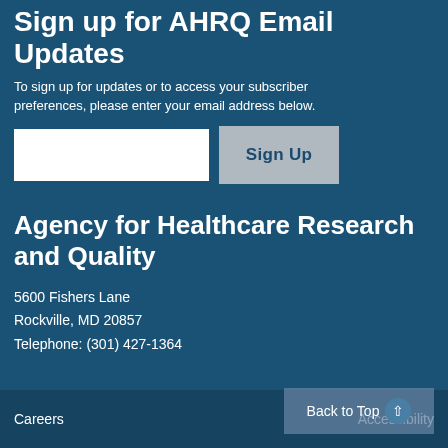Sign up for AHRQ Email Updates
To sign up for updates or to access your subscriber preferences, please enter your email address below.
Agency for Healthcare Research and Quality
5600 Fishers Lane
Rockville, MD 20857
Telephone: (301) 427-1364
Careers    Accessibility    Back to Top